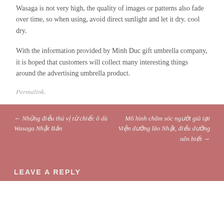Wasaga is not very high, the quality of images or patterns also fade over time, so when using, avoid direct sunlight and let it dry. cool dry.
With the information provided by Minh Duc gift umbrella company, it is hoped that customers will collect many interesting things around the advertising umbrella product.
Permalink.
← Những điều thú vị từ chiếc ô dù Wasaga Nhật Bản
Mô hình chăm sóc người già tại Viện dưỡng lão Nhật, điều dưỡng nên biết →
LEAVE A REPLY